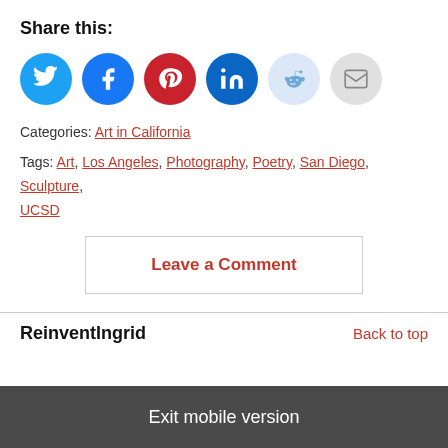Share this:
[Figure (infographic): Row of six social media share icon buttons: Twitter (blue), Facebook (dark blue), Pinterest (red), LinkedIn (dark blue), Reddit (light blue), Email (gray)]
Categories: Art in California
Tags: Art, Los Angeles, Photography, Poetry, San Diego, Sculpture, UCSD
Leave a Comment
ReinventIngrid
Back to top
Exit mobile version